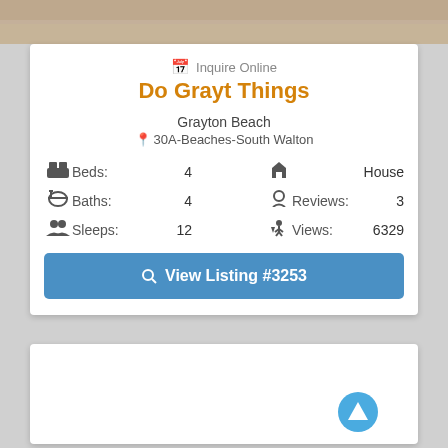[Figure (photo): Partial view of a beach/vacation scene at the top]
Inquire Online
Do Grayt Things
Grayton Beach
📍 30A-Beaches-South Walton
Beds: 4   House
Baths: 4   Reviews: 3
Sleeps: 12   Views: 6329
🔍 View Listing #3253
[Figure (screenshot): White card area at bottom, mostly empty with a scroll-up button]